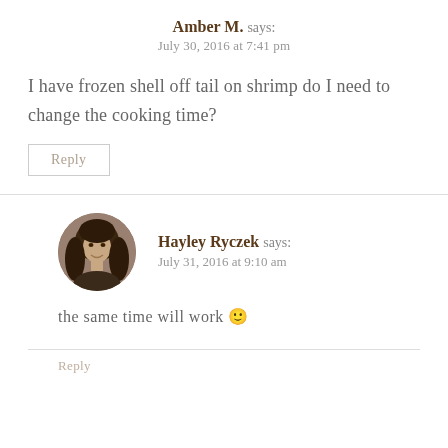Amber M. says: July 30, 2016 at 7:41 pm
I have frozen shell off tail on shrimp do I need to change the cooking time?
Reply
[Figure (photo): Circular avatar photo of Hayley Ryczek, a woman with long dark curly hair]
Hayley Ryczek says: July 31, 2016 at 9:10 am
the same time will work 🙂
Reply